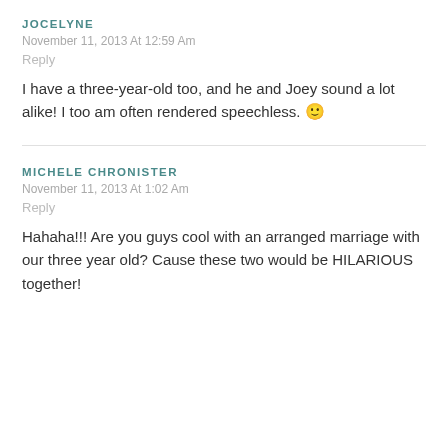JOCELYNE
November 11, 2013 At 12:59 Am
Reply
I have a three-year-old too, and he and Joey sound a lot alike! I too am often rendered speechless. 🙂
MICHELE CHRONISTER
November 11, 2013 At 1:02 Am
Reply
Hahaha!!! Are you guys cool with an arranged marriage with our three year old? Cause these two would be HILARIOUS together!